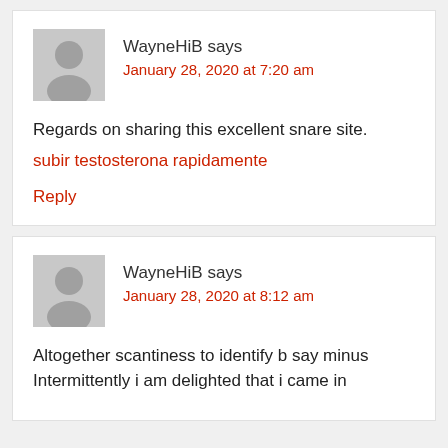WayneHiB says
January 28, 2020 at 7:20 am
Regards on sharing this excellent snare site.
subir testosterona rapidamente
Reply
WayneHiB says
January 28, 2020 at 8:12 am
Altogether scantiness to identify b say minus Intermittently i am delighted that i came in